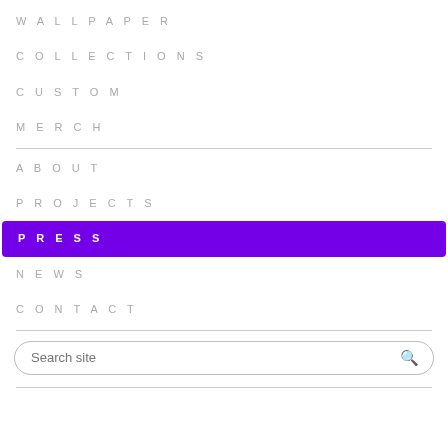WALLPAPER
COLLECTIONS
CUSTOM
MERCH
ABOUT
PROJECTS
PRESS
NEWS
CONTACT
Search site